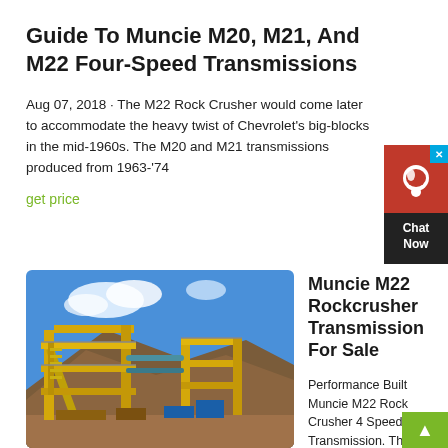Guide To Muncie M20, M21, And M22 Four-Speed Transmissions
Aug 07, 2018 · The M22 Rock Crusher would come later to accommodate the heavy twist of Chevrolet's big-blocks in the mid-1960s. The M20 and M21 transmissions produced from 1963-'74
get price
[Figure (photo): Industrial mining or processing facility with large yellow steel structures, conveyor systems, and staircases set in an open pit environment under a blue sky.]
Muncie M22 Rockcrusher Transmission For Sale
Performance Built Muncie M22 Rock Crusher 4 Speed Transmission. This